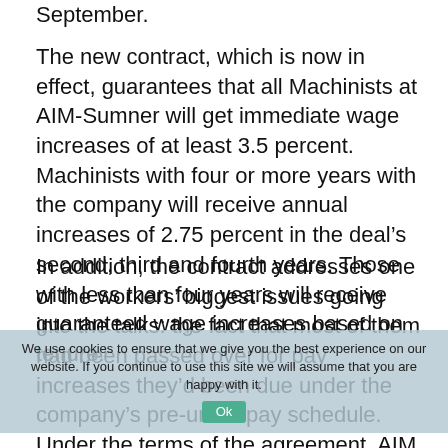September.
The new contract, which is now in effect, guarantees that all Machinists at AIM-Sumner will get immediate wage increases of at least 3.5 percent. Machinists with four or more years with the company will receive annual increases of 2.75 percent in the deal’s second, third and fourth years. Those with less than four years will receive guaranteed wage increases based on tenure.
In addition, the contract addresses one of the workers’ biggest issues going into the talks: the fact that most of them had been passed over for pay increases they’d been due under the company’s pre-union pay schedule. Under the terms of the agreement, AIM management is correcting that, and as a result, average hourly pay across the plant is going up 5.6 percent, with about a quarter of the